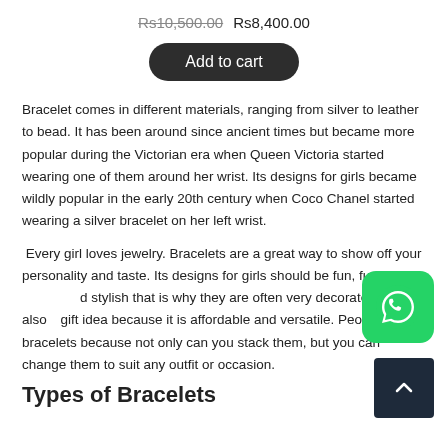Rs10,500.00  Rs8,400.00
Add to cart
Bracelet comes in different materials, ranging from silver to leather to bead. It has been around since ancient times but became more popular during the Victorian era when Queen Victoria started wearing one of them around her wrist. Its designs for girls became wildly popular in the early 20th century when Coco Chanel started wearing a silver bracelet on her left wrist.
Every girl loves jewelry. Bracelets are a great way to show off your personality and taste. Its designs for girls should be fun, funky and stylish that is why they are often very decorated. It is also a great gift idea because it is affordable and versatile. People love bracelets because not only can you stack them, but you can change them to suit any outfit or occasion.
[Figure (logo): WhatsApp icon - green rounded square with white phone handset]
[Figure (other): Scroll to top button - dark navy square with white upward chevron arrow]
Types of Bracelets